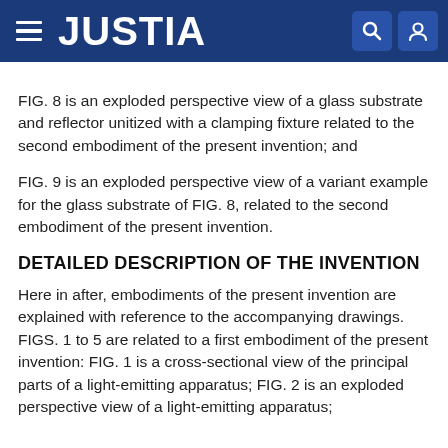JUSTIA
FIG. 8 is an exploded perspective view of a glass substrate and reflector unitized with a clamping fixture related to the second embodiment of the present invention; and
FIG. 9 is an exploded perspective view of a variant example for the glass substrate of FIG. 8, related to the second embodiment of the present invention.
DETAILED DESCRIPTION OF THE INVENTION
Here in after, embodiments of the present invention are explained with reference to the accompanying drawings. FIGS. 1 to 5 are related to a first embodiment of the present invention: FIG. 1 is a cross-sectional view of the principal parts of a light-emitting apparatus; FIG. 2 is an exploded perspective view of a light-emitting apparatus;